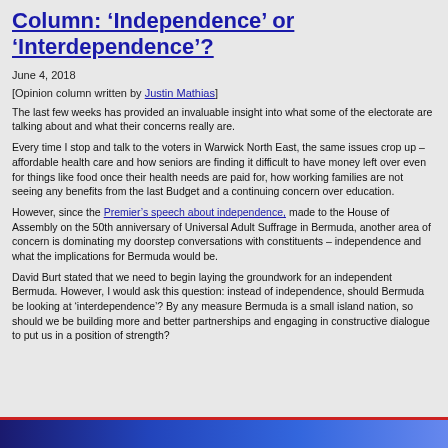Column: ‘Independence’ or ‘Interdependence’?
June 4, 2018
[Opinion column written by Justin Mathias]
The last few weeks has provided an invaluable insight into what some of the electorate are talking about and what their concerns really are.
Every time I stop and talk to the voters in Warwick North East, the same issues crop up – affordable health care and how seniors are finding it difficult to have money left over even for things like food once their health needs are paid for, how working families are not seeing any benefits from the last Budget and a continuing concern over education.
However, since the Premier’s speech about independence, made to the House of Assembly on the 50th anniversary of Universal Adult Suffrage in Bermuda, another area of concern is dominating my doorstep conversations with constituents – independence and what the implications for Bermuda would be.
David Burt stated that we need to begin laying the groundwork for an independent Bermuda. However, I would ask this question: instead of independence, should Bermuda be looking at ‘interdependence’? By any measure Bermuda is a small island nation, so should we be building more and better partnerships and engaging in constructive dialogue to put us in a position of strength?